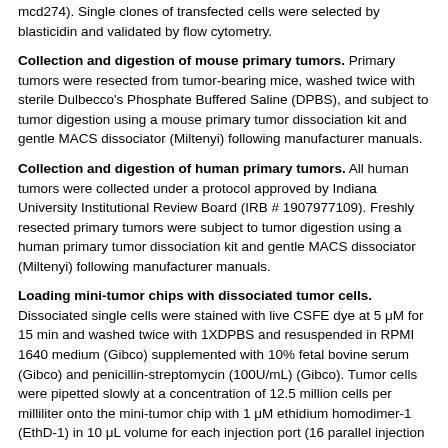mcd274). Single clones of transfected cells were selected by blasticidin and validated by flow cytometry.
Collection and digestion of mouse primary tumors. Primary tumors were resected from tumor-bearing mice, washed twice with sterile Dulbecco's Phosphate Buffered Saline (DPBS), and subject to tumor digestion using a mouse primary tumor dissociation kit and gentle MACS dissociator (Miltenyi) following manufacturer manuals.
Collection and digestion of human primary tumors. All human tumors were collected under a protocol approved by Indiana University Institutional Review Board (IRB # 1907977109). Freshly resected primary tumors were subject to tumor digestion using a human primary tumor dissociation kit and gentle MACS dissociator (Miltenyi) following manufacturer manuals.
Loading mini-tumor chips with dissociated tumor cells. Dissociated single cells were stained with live CSFE dye at 5 μM for 15 min and washed twice with 1XDPBS and resuspended in RPMI 1640 medium (Gibco) supplemented with 10% fetal bovine serum (Gibco) and penicillin-streptomycin (100U/mL) (Gibco). Tumor cells were pipetted slowly at a concentration of 12.5 million cells per milliliter onto the mini-tumor chip with 1 μM ethidium homodimer-1 (EthD-1) in 10 μL volume for each injection port (16 parallel injection ports in total per tumor). Mini-tumor chip was then imaged using an inverted fluorescent microscope (Olympus IX-81) inside an incubation chamber (Tokai hit) set at 37 ºC, 5% CO2. For 2D controls, 10 μL volume of cells were loaded at the same concentration (12.5 million cells per milliliter) into one well of 96 wells and topped with an additional 40 μL of medium to avoid well from drying. For anti-PD1 treatment, the injection cell medium was supplemented with anti-mouse PD1/BioXCell at Store DMBA Mint concentration 12.5 mb/...